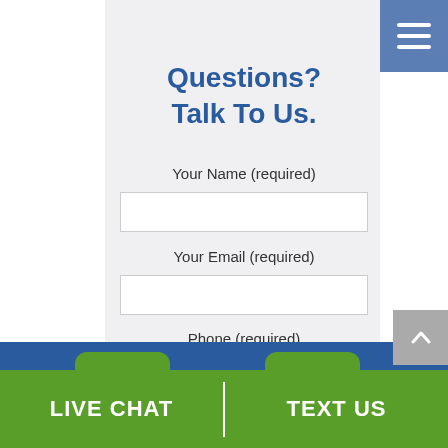Questions?
Talk To Us.
Your Name (required)
Your Email (required)
Phone (required)
Your Message
LIVE CHAT | TEXT US